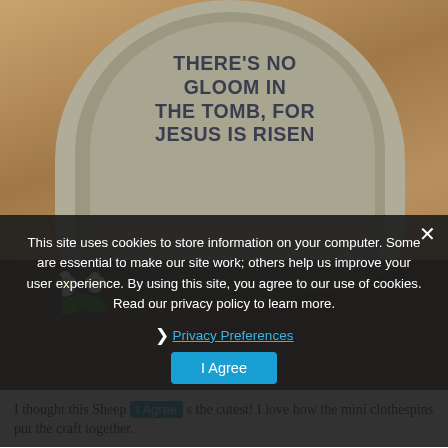[Figure (photo): Photo of a craft tombstone/stone decoration with the text 'THERE'S NO GLOOM IN THE TOMB, FOR JESUS IS RISEN' on a wooden background with flowers, partially obscured by a cookie consent overlay.]
This site uses cookies to store information on your computer. Some are essential to make our site work; others help us improve your user experience. By using this site, you agree to our use of cookies. Read our privacy policy to learn more.
Privacy Preferences
I Agree
I thought this Sheep ... s the cutest! I love how the mini clothespins put the craft together.